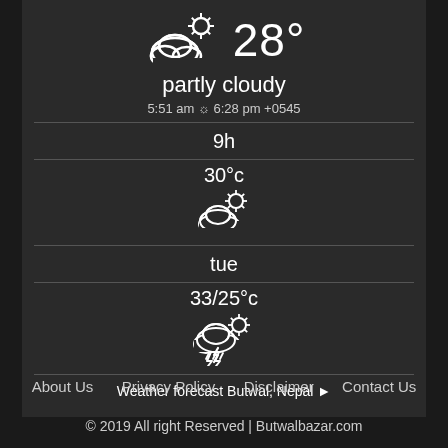[Figure (infographic): Weather icon showing cloud with sun and partly cloudy symbol, large 28° temperature]
partly cloudy
5:51 am ☼ 6:28 pm +0545
9h
[Figure (infographic): Weather icon: 30°c with partly cloudy sun icon]
tue
[Figure (infographic): Weather icon: 33/25°c with partly cloudy thunderstorm sun icon]
Weather forecast Butwal, Nepal ►
About Us    Privacy Policy    Disclaimer    Contact Us
© 2019 All right Reserved | Butwalbazar.com